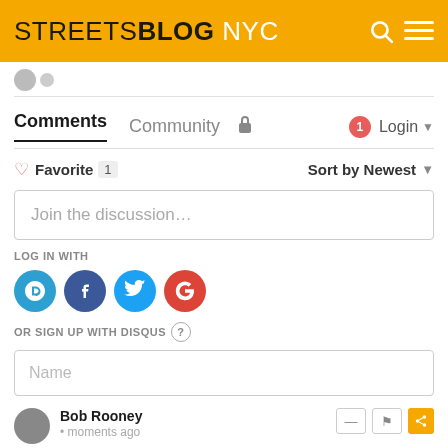STREETSBLOG NYC
Comments  Community  Login
Favorite 1  Sort by Newest
Join the discussion...
LOG IN WITH
OR SIGN UP WITH DISQUS
Name
Bob Rooney